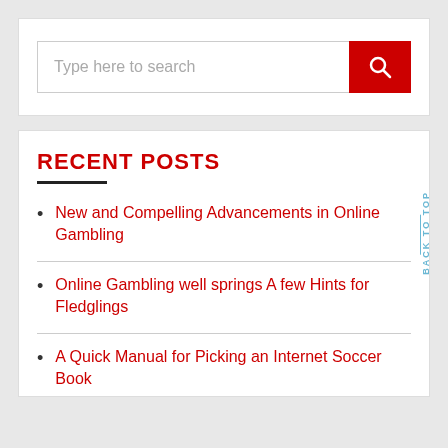[Figure (screenshot): Search bar with placeholder text 'Type here to search' and a red search button with magnifying glass icon]
RECENT POSTS
New and Compelling Advancements in Online Gambling
Online Gambling well springs A few Hints for Fledglings
A Quick Manual for Picking an Internet Soccer Book